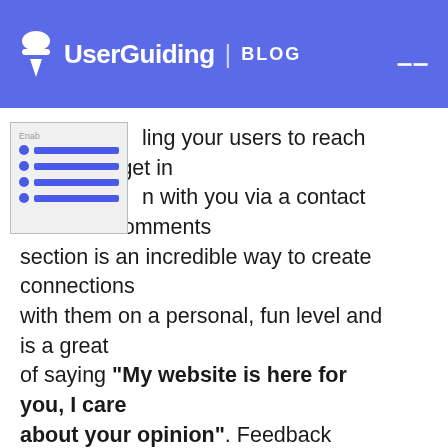UserGuiding | BLOG
Enabling your users to reach out to you get in touch with you via a contact form or a comments section is an incredible way to create connections with them on a personal, fun level and is a great of saying "My website is here for you, I care about your opinion". Feedback forms will enable you to identify your user pain points, what makes you great, and what your users love about your service – and you'll gain this information from the most reliable source ever: your users themselves!
Live Support
One of the best and most effective ways you can